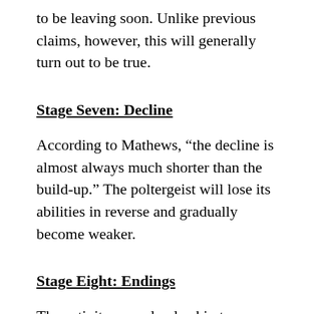to be leaving soon. Unlike previous claims, however, this will generally turn out to be true.
Stage Seven: Decline
According to Mathews, “the decline is almost always much shorter than the build-up.” The poltergeist will lose its abilities in reverse and gradually become weaker.
Stage Eight: Endings
The activity may slowly skip to an end. Sometimes, this poltergeist activity will reach a dramatic conclusion. In many cases, exorcisms or blessings may prematurely kill the activity.